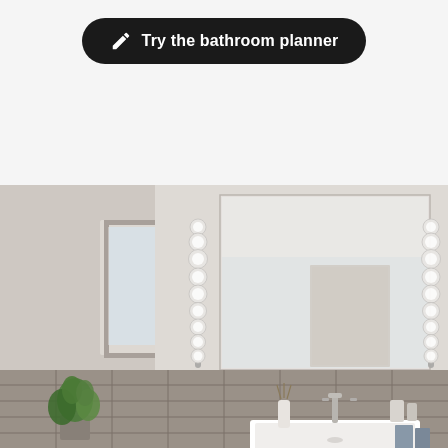[Figure (screenshot): Black rounded button with pencil/edit icon and text 'Try the bathroom planner' on a light grey background]
[Figure (photo): Modern bathroom with large wall mirror flanked by two vertical strip lights with globe bulbs, white sink/vanity, grey wall tiles, green plant near window, neutral grey and white color scheme]